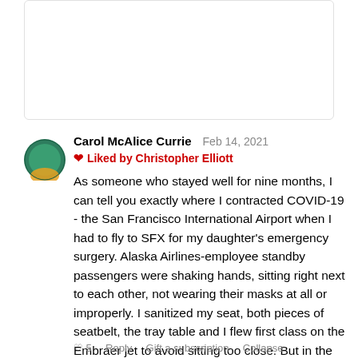[Figure (other): Top portion of a comment card, mostly blank white space with a light gray border, partially visible]
Carol McAlice Currie   Feb 14, 2021
❤ Liked by Christopher Elliott
As someone who stayed well for nine months, I can tell you exactly where I contracted COVID-19 - the San Francisco International Airport when I had to fly to SFX for my daughter's emergency surgery. Alaska Airlines-employee standby passengers were shaking hands, sitting right next to each other, not wearing their masks at all or improperly. I sanitized my seat, both pieces of seatbelt, the tray table and I flew first class on the Embraer jet to avoid sitting too close. But in the airport itself, no one gives a dang. I say until people respect the mask mandate, the more restrictions the better! Of course, I won't fly again!
5   Reply   Gift a subscription   Collapse